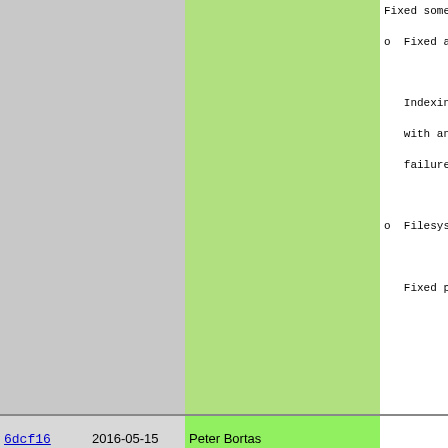| hash | date | author | message |
| --- | --- | --- | --- |
|  |  |  | Fixed some
o  Fixed asse

   Indexing o
   with an ob
   failures.

o  Filesyste

   Fixed pote |
| 6dcf16 | 2016-05-15 | Peter Bortas |  |
| 62f372 | 2016-04-01 | Henrik Grubbström (Grubba) | Changes sinc
-----------

New features
-----------

o  Roxen.http

o  Protocols

o  Report fea |
| e1b3a1 | 2016-05-06 | Peter Bortas | o  Updated Ca

o  Added modu |